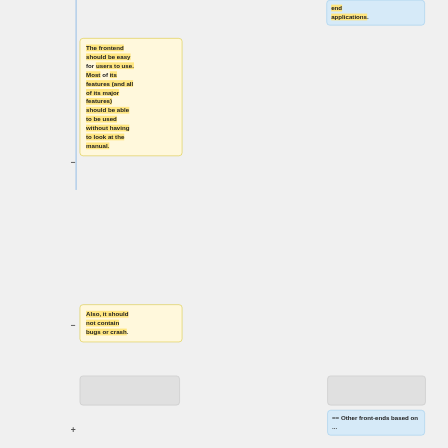end applications.
The frontend should be easy for users to use. Most of its features (and all of its major features) should be able to be used without having to look at the manual.
Also, it should not contain bugs or crash.
== Other front-ends based on ...